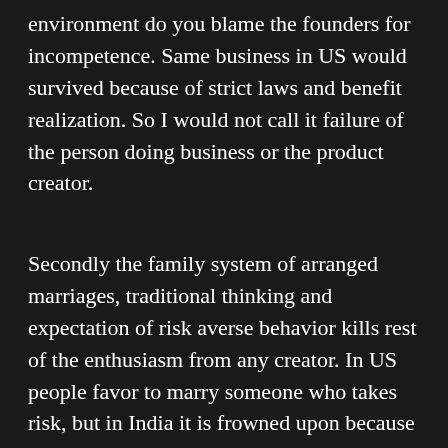environment do you blame the founders for incompetence. Same business in US would survived because of strict laws and benefit realization. So I would not call it failure of the person doing business or the product creator.
Secondly the family system of arranged marriages, traditional thinking and expectation of risk averse behavior kills rest of the enthusiasm from any creator. In US people favor to marry someone who takes risk, but in India it is frowned upon because the our mom/dad expect us to have a stable life. Middle class just avoids any risk. In such a family, administrative and